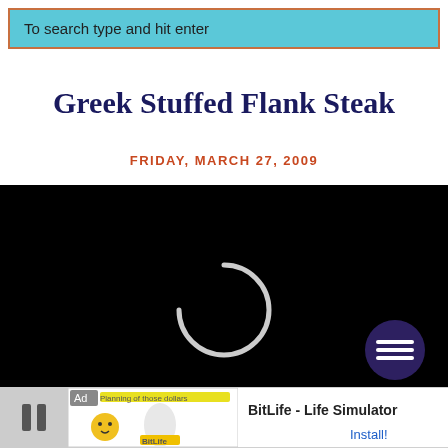To search type and hit enter
Greek Stuffed Flank Steak
FRIDAY, MARCH 27, 2009
[Figure (screenshot): Black video player area with a loading spinner circle in the center and a dark purple menu button with three horizontal lines in the bottom-right corner]
[Figure (screenshot): Ad banner at bottom: BitLife - Life Simulator with Install! link, showing a pause button and ad imagery]